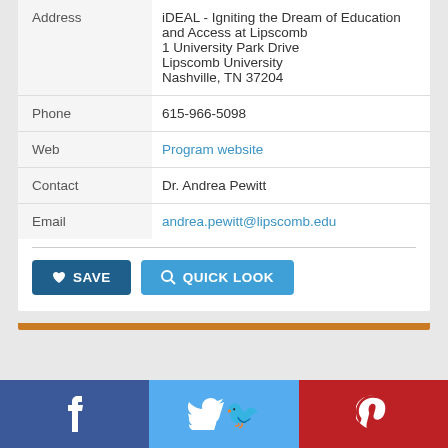| Field | Value |
| --- | --- |
| Address | iDEAL - Igniting the Dream of Education and Access at Lipscomb
1 University Park Drive
Lipscomb University
Nashville, TN 37204 |
| Phone | 615-966-5098 |
| Web | Program website |
| Contact | Dr. Andrea Pewitt |
| Email | andrea.pewitt@lipscomb.edu |
[Figure (other): Orange horizontal bar divider below card]
[Figure (other): Social media bar with Facebook, Twitter, and Pinterest icons at page bottom]